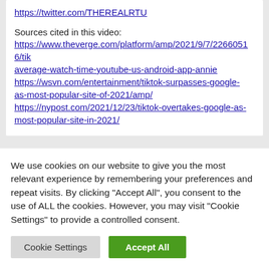https://twitter.com/THEREALRTU
Sources cited in this video:
https://www.theverge.com/platform/amp/2021/9/7/22660516/tik-average-watch-time-youtube-us-android-app-annie
https://wsvn.com/entertainment/tiktok-surpasses-google-as-most-popular-site-of-2021/amp/
https://nypost.com/2021/12/23/tiktok-overtakes-google-as-most-popular-site-in-2021/
We use cookies on our website to give you the most relevant experience by remembering your preferences and repeat visits. By clicking "Accept All", you consent to the use of ALL the cookies. However, you may visit "Cookie Settings" to provide a controlled consent.